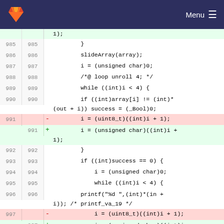Menu
[Figure (screenshot): GitLab diff view showing code lines 985-997 with deleted lines using uint8_t and added lines using unsigned char type]
1);
985    }
986    slideArray(array);
987    i = (unsigned char)0;
988    /*@ loop unroll 4; */
989    while ((int)i < 4) {
990    if ((int)array[i] != (int)*(out + i)) success = (_Bool)0;
991 -  i = (uint8_t)((int)i + 1);
991 +  i = (unsigned char)((int)i + 1);
992    }
993    if ((int)success == 0) {
994    i = (unsigned char)0;
995    while ((int)i < 4) {
996    printf("%d ",(int)*(in + i)); /* printf_va_19 */
997 -  i = (uint8_t)((int)i + 1);
997 +  i = (unsigned char)((int)i + 1);